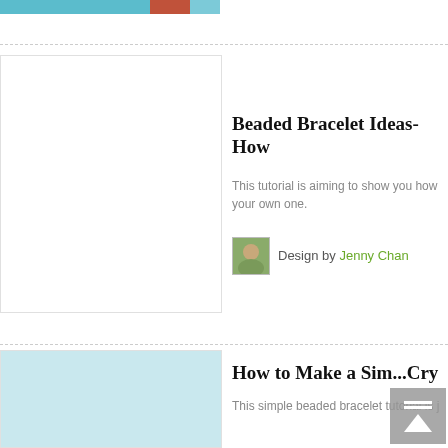[Figure (photo): Partial top image strip showing teal, red-brown, and light teal color segments of a bracelet or craft image]
[Figure (photo): White thumbnail placeholder box for Beaded Bracelet Ideas article]
Beaded Bracelet Ideas-How
This tutorial is aiming to show you how your own one.
Design by Jenny Chan
[Figure (photo): Light teal/blue thumbnail placeholder box for How to Make a Simple Crystal bracelet article]
How to Make a Sim...Cry
This simple beaded bracelet tutorial is j